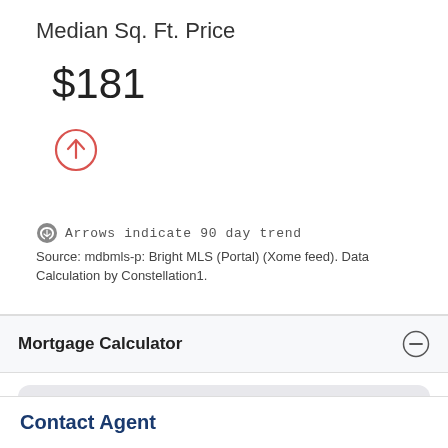Median Sq. Ft. Price
$181
[Figure (infographic): Red circle with upward arrow indicating 90-day trend increase]
Arrows indicate 90 day trend
Source: mdbmls-p: Bright MLS (Portal) (Xome feed). Data Calculation by Constellation1.
Mortgage Calculator
HELP
Contact Agent